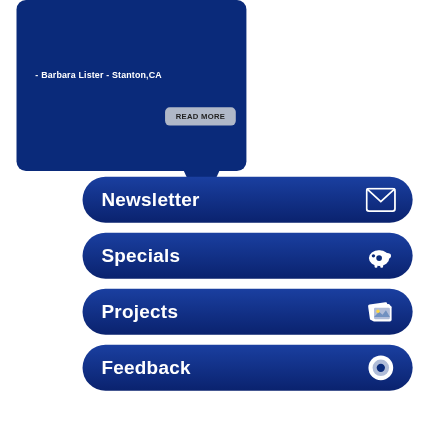- Barbara Lister - Stanton,CA
[Figure (screenshot): Dark blue speech bubble with attribution text '- Barbara Lister - Stanton,CA' and a READ MORE button, followed by four dark blue rounded navigation buttons labeled Newsletter, Specials, Projects, and Feedback, each with an icon on the right.]